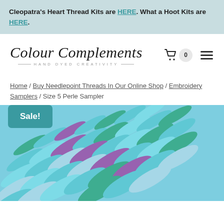Cleopatra's Heart Thread Kits are HERE. What a Hoot Kits are HERE.
[Figure (logo): Colour Complements logo with script font and tagline 'HAND DYED CREATIVITY']
Home / Buy Needlepoint Threads In Our Online Shop / Embroidery Samplers / Size 5 Perle Sampler
[Figure (photo): Close-up photo of colorful embroidery threads in turquoise, teal, purple, and green colors arranged in a sampler pattern, with a 'Sale!' badge overlay]